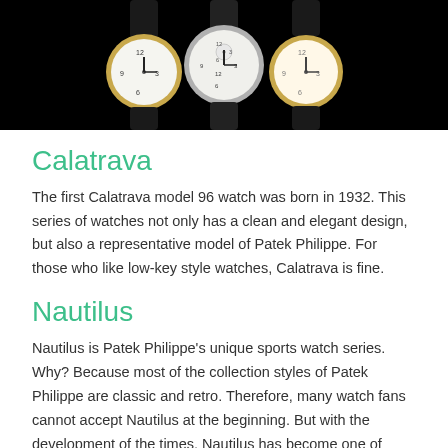[Figure (photo): Three Patek Philippe watches with white/cream dials displayed against a black background, wearing black leather straps. Two outer watches have gold cases, the center watch has a silver/steel case.]
Calatrava
The first Calatrava model 96 watch was born in 1932. This series of watches not only has a clean and elegant design, but also a representative model of Patek Philippe. For those who like low-key style watches, Calatrava is fine.
Nautilus
Nautilus is Patek Philippe's unique sports watch series. Why? Because most of the collection styles of Patek Philippe are classic and retro. Therefore, many watch fans cannot accept Nautilus at the beginning. But with the development of the times, Nautilus has become one of Patek Philippe's most